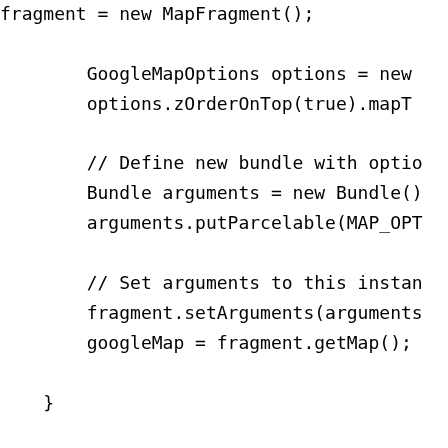fragment = new MapFragment();

        GoogleMapOptions options = new
        options.zOrderOnTop(true).mapT

        // Define new bundle with optio
        Bundle arguments = new Bundle()
        arguments.putParcelable(MAP_OPT

        // Set arguments to this instan
        fragment.setArguments(arguments
        googleMap = fragment.getMap();

    }

    ...


        _savedCameraPosition = fragment.getMa
        FragmentManager fragmentManager = get